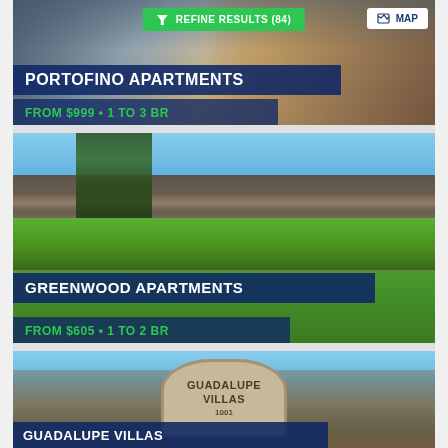[Figure (screenshot): Portofino Apartments listing card showing interior room photo with bedroom/living area, green Refine Results (84) button, white Map button, dark navy title bar and price bar]
PORTOFINO APARTMENTS
FROM $999 • 1 TO 3 BR
[Figure (screenshot): Greenwood Apartments listing card showing exterior photo of brick apartment building with trees and green lawn, dark navy title and price bars]
GREENWOOD APARTMENTS
FROM $605 • 1 TO 2 BR
[Figure (screenshot): Guadalupe Villas listing card showing exterior with monument sign reading GUADALUPE VILLAS 1001, partial title bar at bottom]
GUADALUPE VILLAS